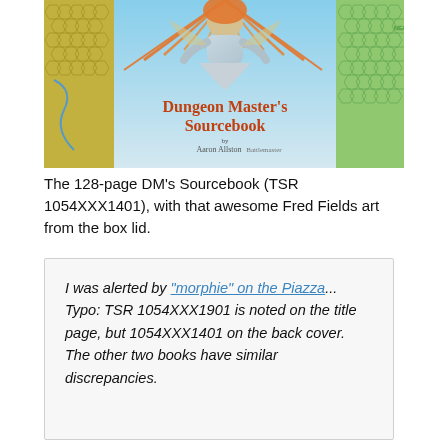[Figure (photo): Photo of the Dungeon Master's Sourcebook by Aaron Alliston (TSR), showing the book cover with fantasy artwork of a creature with orange hair/rays, and hexagonal map boards visible on left and right sides.]
The 128-page DM's Sourcebook (TSR 1054XXX1401), with that awesome Fred Fields art from the box lid.
I was alerted by "morphie" on the Piazza... Typo: TSR 1054XXX1901 is noted on the title page, but 1054XXX1401 on the back cover. The other two books have similar discrepancies.